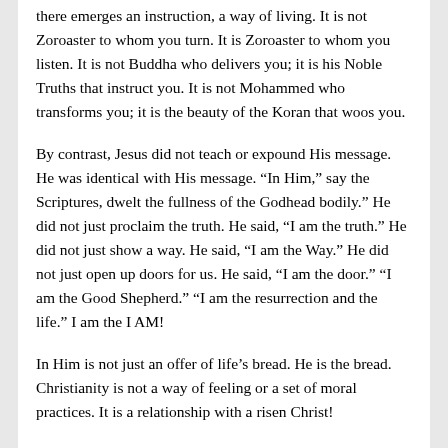there emerges an instruction, a way of living.  It is not Zoroaster to whom you turn.  It is Zoroaster to whom you listen.  It is not Buddha who delivers you; it is his Noble Truths that instruct you.  It is not Mohammed who transforms you; it is the beauty of the Koran that woos you.
By contrast, Jesus did not teach or expound His message.  He was identical with His message.  “In Him,” say the Scriptures, dwelt the fullness of the Godhead bodily.”  He did not just proclaim the truth.  He said, “I am the truth.”  He did not just show a way.  He said, “I am the Way.”  He did not just open up doors for us.  He said, “I am the door.”  “I am the Good Shepherd.”  “I am the resurrection and the life.”  I am the I AM!
In Him is not just an offer of life’s bread.  He is the bread.  Christianity is not a way of feeling or a set of moral practices.  It is a relationship with a risen Christ!
What separates Christianity from all other religions of the world is an empty tomb and the words of a living Christ